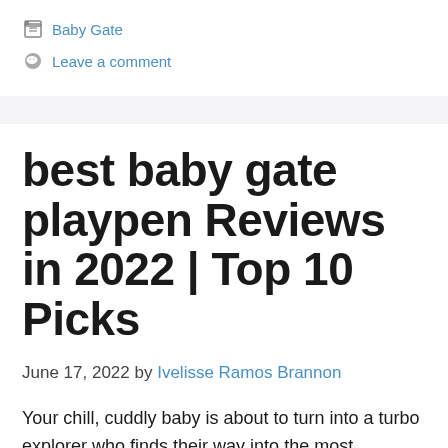Baby Gate
Leave a comment
best baby gate playpen Reviews in 2022 | Top 10 Picks
June 17, 2022 by Ivelisse Ramos Brannon
Your chill, cuddly baby is about to turn into a turbo explorer who finds their way into the most dangerous places in your home. This phenomenon seemingly happens overnight,